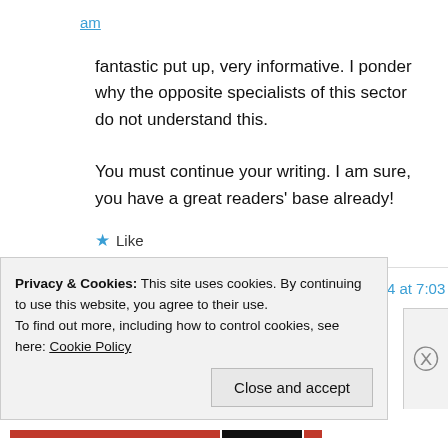am
fantastic put up, very informative. I ponder why the opposite specialists of this sector do not understand this.

You must continue your writing. I am sure, you have a great readers' base already!
★ Like
dino hunter hack tool on September 21, 2014 at 7:03
Privacy & Cookies: This site uses cookies. By continuing to use this website, you agree to their use.
To find out more, including how to control cookies, see here: Cookie Policy